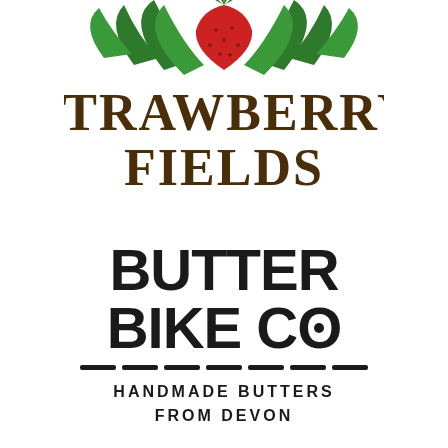[Figure (logo): Strawberry Fields logo: arched green leaves/vines with a red strawberry in the center at top, above bold brown arched text reading STRAWBERRY FIELDS]
[Figure (logo): Butter Bike Co logo: large bold black text BUTTER BIKE CO with a dot in the O, followed by a dashed line separator, and tagline HANDMADE BUTTERS FROM DEVON in spaced capitals]